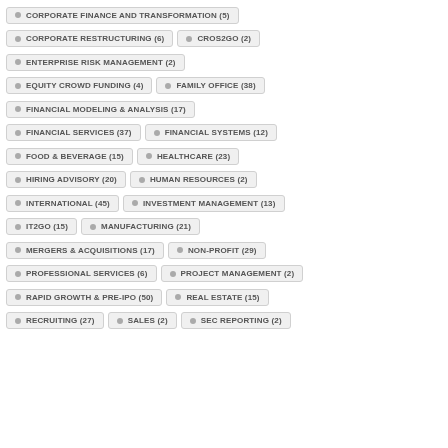CORPORATE FINANCE AND TRANSFORMATION (5)
CORPORATE RESTRUCTURING (6)
CROS2GO (2)
ENTERPRISE RISK MANAGEMENT (2)
EQUITY CROWD FUNDING (4)
FAMILY OFFICE (38)
FINANCIAL MODELING & ANALYSIS (17)
FINANCIAL SERVICES (37)
FINANCIAL SYSTEMS (12)
FOOD & BEVERAGE (15)
HEALTHCARE (23)
HIRING ADVISORY (20)
HUMAN RESOURCES (2)
INTERNATIONAL (45)
INVESTMENT MANAGEMENT (13)
IT2GO (15)
MANUFACTURING (21)
MERGERS & ACQUISITIONS (17)
NON-PROFIT (29)
PROFESSIONAL SERVICES (6)
PROJECT MANAGEMENT (2)
RAPID GROWTH & PRE-IPO (50)
REAL ESTATE (15)
RECRUITING (27)
SALES (2)
SEC REPORTING (2)